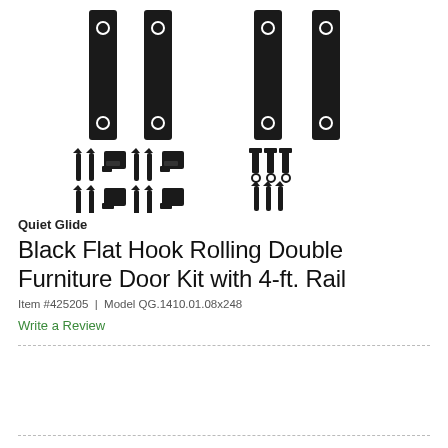[Figure (photo): Product photo showing barn door hardware kit components: four long black flat strap hanger plates with holes, various screws, clips/hooks, bolts, and mounting hardware arranged on a white background.]
Quiet Glide
Black Flat Hook Rolling Double Furniture Door Kit with 4-ft. Rail
Item #425205 | Model QG.1410.01.08x248
Write a Review